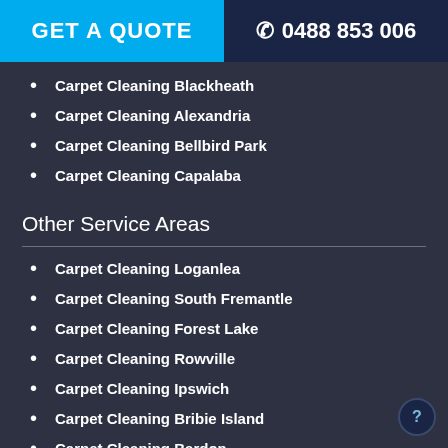GET A QUOTE | 0488 853 006
Carpet Cleaning Blackheath
Carpet Cleaning Alexandria
Carpet Cleaning Bellbird Park
Carpet Cleaning Capalaba
Other Service Areas
Carpet Cleaning Loganlea
Carpet Cleaning South Fremantle
Carpet Cleaning Forest Lake
Carpet Cleaning Rowville
Carpet Cleaning Ipswich
Carpet Cleaning Bribie Island
Carpet Cleaning Bardon
Carpet Cleaning Mango Hill
Carpet Cleaning Kedron